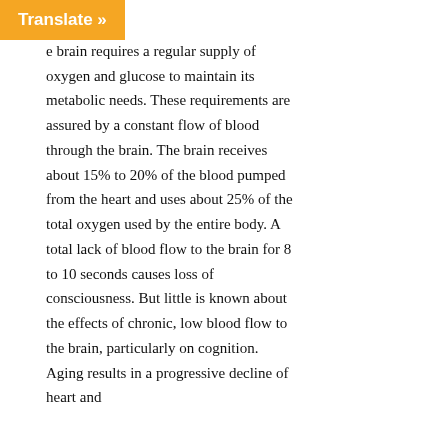…alled CSF …e brain requires a regular supply of oxygen and glucose to maintain its metabolic needs. These requirements are assured by a constant flow of blood through the brain. The brain receives about 15% to 20% of the blood pumped from the heart and uses about 25% of the total oxygen used by the entire body. A total lack of blood flow to the brain for 8 to 10 seconds causes loss of consciousness. But little is known about the effects of chronic, low blood flow to the brain, particularly on cognition. Aging results in a progressive decline of heart and